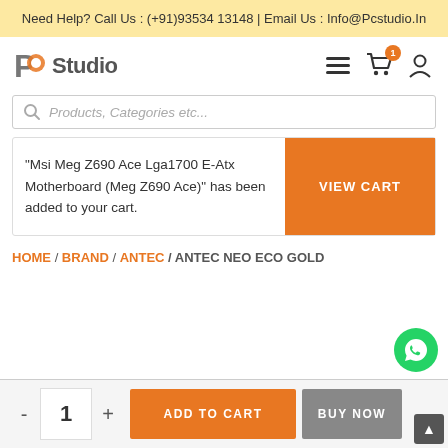Need Help? Call Us : (+91)93534 13148 | Email Us : Info@Pcstudio.In
[Figure (logo): PC Studio logo with stylized PC icon and text 'Studio']
"Msi Meg Z690 Ace Lga1700 E-Atx Motherboard (Meg Z690 Ace)" has been added to your cart.
VIEW CART
HOME / BRAND / ANTEC / ANTEC NEO ECO GOLD
- 1 + ADD TO CART BUY NOW